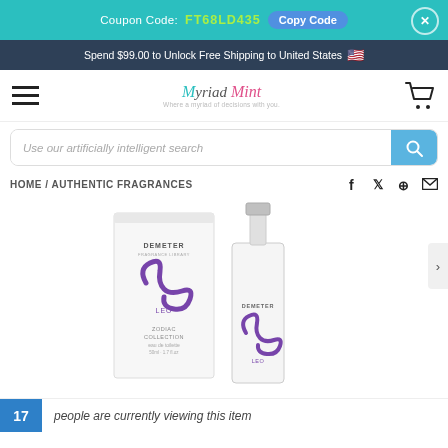Coupon Code: FT68LD435  Copy Code
Spend $99.00 to Unlock Free Shipping to United States 🇺🇸
[Figure (logo): Myriad Mint brand logo with script text and tagline]
Use our artificially intelligent search
HOME / AUTHENTIC FRAGRANCES
[Figure (photo): Demeter Leo Zodiac Collection eau de toilette perfume box and spray bottle with purple Leo zodiac symbol]
17 people are currently viewing this item